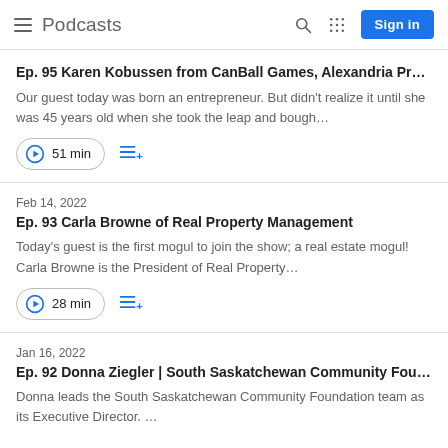Podcasts
Ep. 95 Karen Kobussen from CanBall Games, Alexandria Pr…
Our guest today was born an entrepreneur. But didn't realize it until she was 45 years old when she took the leap and bough…
51 min
Feb 14, 2022
Ep. 93 Carla Browne of Real Property Management
Today's guest is the first mogul to join the show; a real estate mogul! Carla Browne is the President of Real Property…
28 min
Jan 16, 2022
Ep. 92 Donna Ziegler | South Saskatchewan Community Fou…
Donna leads the South Saskatchewan Community Foundation team as its Executive Director. …